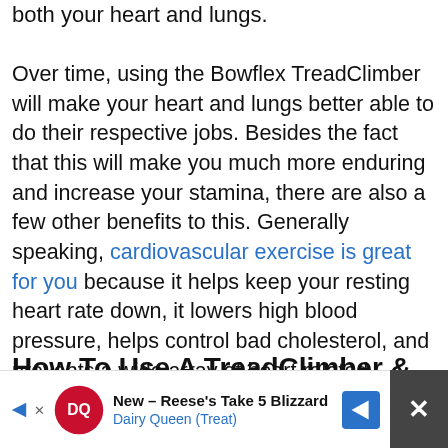both your heart and lungs.
Over time, using the Bowflex TreadClimber will make your heart and lungs better able to do their respective jobs. Besides the fact that this will make you much more enduring and increase your stamina, there are also a few other benefits to this. Generally speaking, cardiovascular exercise is great for you because it helps keep your resting heart rate down, it lowers high blood pressure, helps control bad cholesterol, and prevents a wide array of heart related diseases and conditions too.
How To Use A TreadClimber & A Few TreadClimber Tips
[Figure (screenshot): Advertisement banner for Dairy Queen - New Reese's Take 5 Blizzard with DQ logo, navigation arrow icon, and close button]